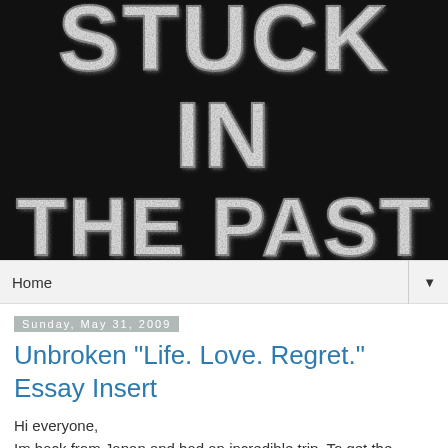[Figure (illustration): Black background banner image with large distressed/grunge white block letters reading 'STUCK IN THE PAST' in two rows]
Home ▼
Sunday, May 31, 2009
Unbroken "Life. Love. Regret." Essay Insert
Hi everyone,
Im back from Japan and had an incredible trip. To get the